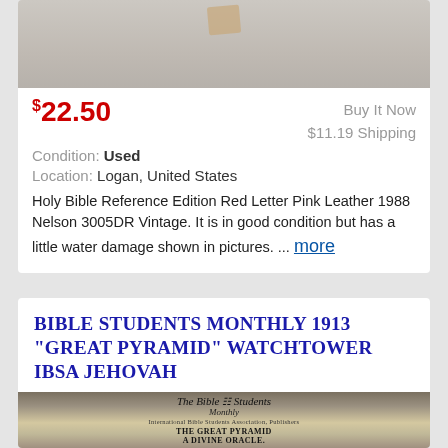[Figure (photo): Photo of a pink leather Bible book, partially visible at the top of the listing card]
$22.50  Buy It Now  $11.19 Shipping  Condition: Used  Location: Logan, United States  Holy Bible Reference Edition Red Letter Pink Leather 1988 Nelson 3005DR Vintage. It is in good condition but has a little water damage shown in pictures. ... more
BIBLE STUDENTS MONTHLY 1913 "GREAT PYRAMID" WATCHTOWER IBSA JEHOVAH
[Figure (photo): Photo of 'The Bible Students Monthly' publication from 1913 featuring an article titled 'THE GREAT PYRAMID A DIVINE ORACLE.']